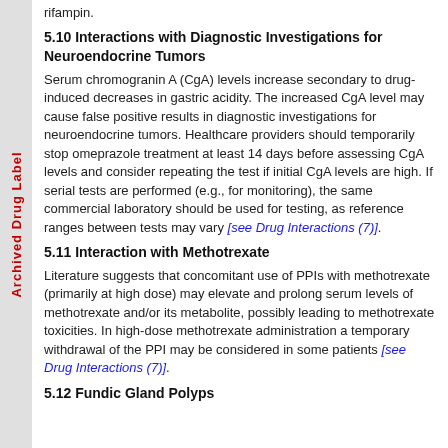rifampin.
5.10 Interactions with Diagnostic Investigations for Neuroendocrine Tumors
Serum chromogranin A (CgA) levels increase secondary to drug-induced decreases in gastric acidity. The increased CgA level may cause false positive results in diagnostic investigations for neuroendocrine tumors. Healthcare providers should temporarily stop omeprazole treatment at least 14 days before assessing CgA levels and consider repeating the test if initial CgA levels are high. If serial tests are performed (e.g., for monitoring), the same commercial laboratory should be used for testing, as reference ranges between tests may vary [see Drug Interactions (7)].
5.11 Interaction with Methotrexate
Literature suggests that concomitant use of PPIs with methotrexate (primarily at high dose) may elevate and prolong serum levels of methotrexate and/or its metabolite, possibly leading to methotrexate toxicities. In high-dose methotrexate administration a temporary withdrawal of the PPI may be considered in some patients [see Drug Interactions (7)].
5.12 Fundic Gland Polyps